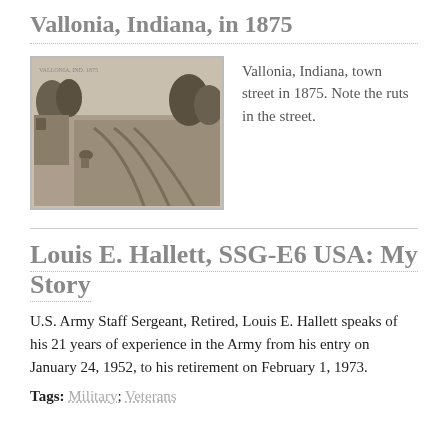Vallonia, Indiana, in 1875
[Figure (photo): Black and white historical photograph of Vallonia, Indiana town street in 1875, showing a dirt road with visible ruts, trees, and buildings.]
Vallonia, Indiana, town street in 1875. Note the ruts in the street.
Louis E. Hallett, SSG-E6 USA: My Story
U.S. Army Staff Sergeant, Retired, Louis E. Hallett speaks of his 21 years of experience in the Army from his entry on January 24, 1952, to his retirement on February 1, 1973.
Tags: Military; Veterans